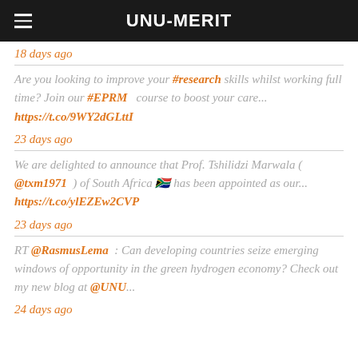UNU-MERIT
18 days ago
Are you looking to improve your #research skills whilst working full time? Join our #EPRM course to boost your care... https://t.co/9WY2dGLttI
23 days ago
We are delighted to announce that Prof. Tshilidzi Marwala ( @txm1971 ) of South Africa 🇿🇦 has been appointed as our... https://t.co/ylEZEw2CVP
23 days ago
RT @RasmusLema : Can developing countries seize emerging windows of opportunity in the green hydrogen economy? Check out my new blog at @UNU...
24 days ago